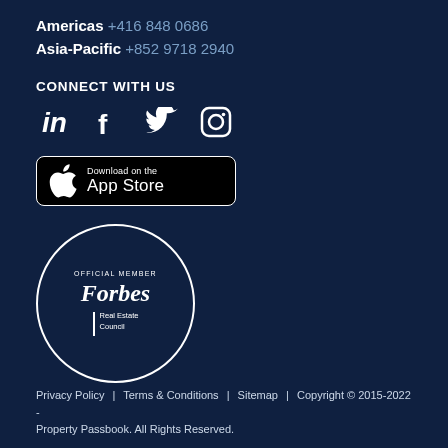Americas +416 848 0686
Asia-Pacific +852 9718 2940
CONNECT WITH US
[Figure (illustration): Social media icons: LinkedIn, Facebook, Twitter, Instagram]
[Figure (illustration): Download on the App Store button]
[Figure (logo): Forbes Real Estate Council official member circle badge]
Privacy Policy | Terms & Conditions | Sitemap | Copyright © 2015-2022 - Property Passbook. All Rights Reserved.